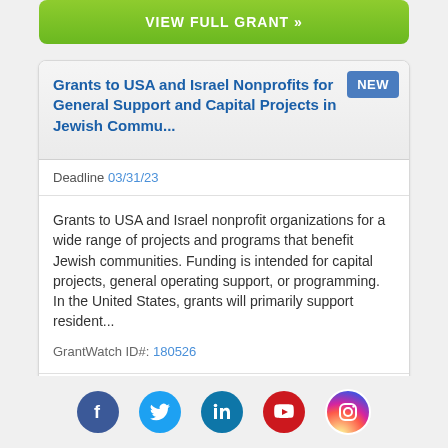VIEW FULL GRANT »
Grants to USA and Israel Nonprofits for General Support and Capital Projects in Jewish Commu...
Deadline 03/31/23
Grants to USA and Israel nonprofit organizations for a wide range of projects and programs that benefit Jewish communities. Funding is intended for capital projects, general operating support, or programming. In the United States, grants will primarily support resident...
GrantWatch ID#: 180526
VIEW FULL GRANT »
[Figure (infographic): Social media icons row: Facebook (blue circle), Twitter (light blue circle), LinkedIn (teal circle), YouTube (red circle), Instagram (gradient circle)]